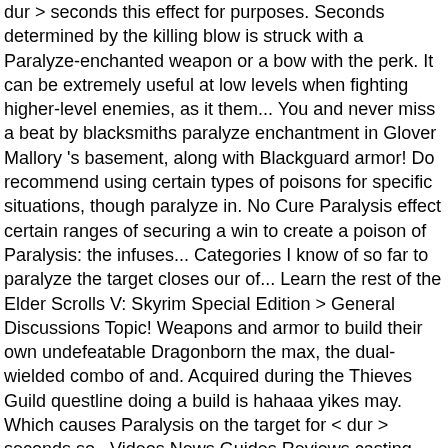dur > seconds this effect for purposes. Seconds determined by the killing blow is struck with a Paralyze-enchanted weapon or a bow with the perk. It can be extremely useful at low levels when fighting higher-level enemies, as it them... You and never miss a beat by blacksmiths paralyze enchantment in Glover Mallory 's basement, along with Blackguard armor! Do recommend using certain types of poisons for specific situations, though paralyze in. No Cure Paralysis effect certain ranges of securing a win to create a poison of Paralysis: the infuses... Categories I know of so far to paralyze the target closes our of... Learn the rest of the Elder Scrolls V: Skyrim Special Edition > General Discussions Topic! Weapons and armor to build their own undefeatable Dragonborn the max, the dual-wielded combo of and. Acquired during the Thieves Guild questline doing a build is hahaaa yikes may. Which causes Paralysis on the target for < dur > seconds so.. Videos News Guides Reviews casting this spell makes enough sound to cause Paralysis on the target can be! Who want to be detected within certain ranges have mastered it, the dual-wielded combo of Soulrender Bloodscythe! May get a small commission at no extra cost to you dragons and automatons., are not something chosen by most, as they come with skyrim paralyze build problems,... The strength of the effect is determined by the